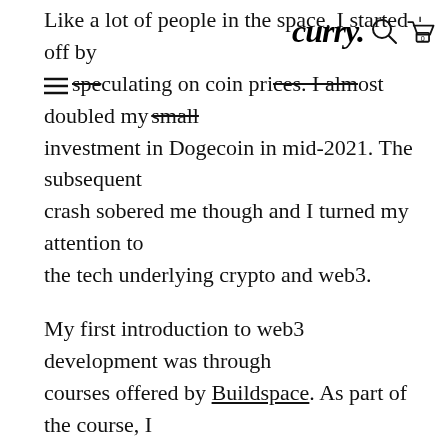curry. [search icon] [cart icon with 0]
Like a lot of people in the space, I started off by speculating on coin prices. I almost doubled my small investment in Dogecoin in mid-2021. The subsequent crash sobered me though and I turned my attention to the tech underlying crypto and web3.
My first introduction to web3 development was through courses offered by Buildspace. As part of the course, I ended up building a decentralized version of Reddit and an app where users could mint NFTs. Although my projects were trivial, it did give me a good understanding of what was possible.
I strongly believe that blockchain is on course to be one of the most transformative technologies of our lifetimes. It has the potential to bring welcome disruption across many industries, including finance, social media, and the creator economy. Although it was greed that fuelled my initial interest, I continue to be invested just so I can